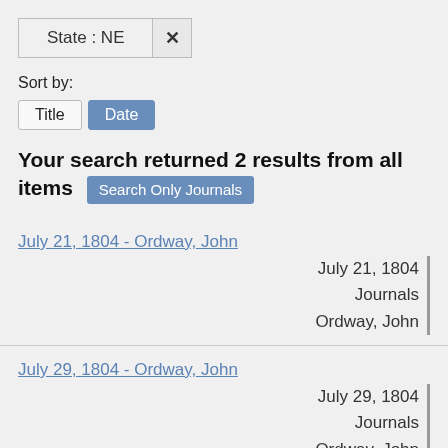State : NE
Sort by:
Title  Date
Your search returned 2 results from all items  Search Only Journals
July 21, 1804 - Ordway, John
July 21, 1804
Journals
Ordway, John
July 29, 1804 - Ordway, John
July 29, 1804
Journals
Ordway, John